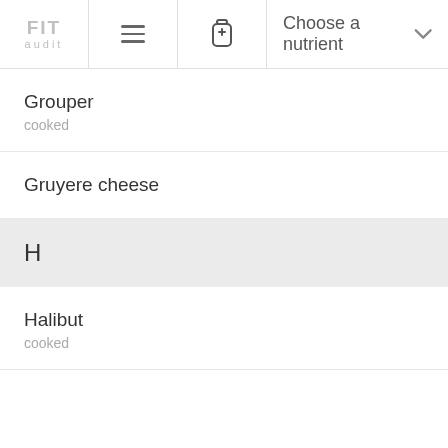FIT audit — Choose a nutrient
Grouper
cooked
Gruyere cheese
H
Halibut
cooked